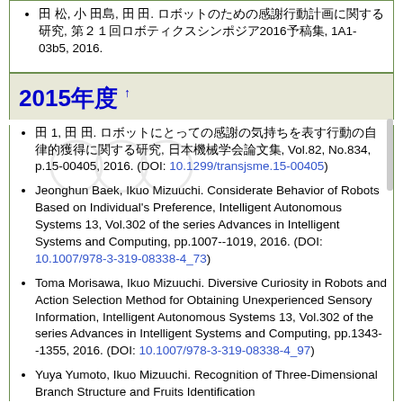田 松, 小 田島, 田 田. ロボットのための感謝行動計画に関する研究, 第２１回ロボティクスシンポジア2016予稿集, 1A1-03b5, 2016.
2015年度 ↑
田 1, 田 田. ロボットにとっての感謝の気持ちを表す行動の自律的獲得に関する研究, 日本機械学会論文集, Vol.82, No.834, p.15-00405, 2016. (DOI: 10.1299/transjsme.15-00405)
Jeonghun Baek, Ikuo Mizuuchi. Considerate Behavior of Robots Based on Individual's Preference, Intelligent Autonomous Systems 13, Vol.302 of the series Advances in Intelligent Systems and Computing, pp.1007--1019, 2016. (DOI: 10.1007/978-3-319-08338-4_73)
Toma Morisawa, Ikuo Mizuuchi. Diversive Curiosity in Robots and Action Selection Method for Obtaining Unexperienced Sensory Information, Intelligent Autonomous Systems 13, Vol.302 of the series Advances in Intelligent Systems and Computing, pp.1343--1355, 2016. (DOI: 10.1007/978-3-319-08338-4_97)
Yuya Yumoto, Ikuo Mizuuchi. Recognition of Three-Dimensional Branch Structure and Fruits Identification